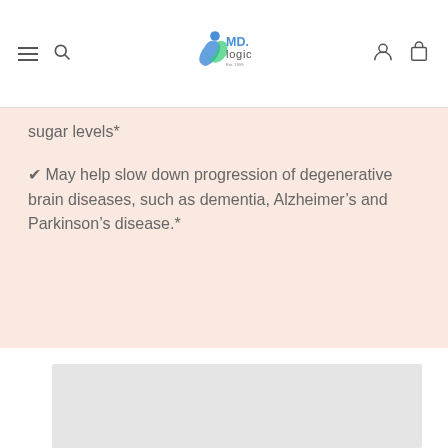MD Logic (logo) — navigation bar with hamburger menu, search, account, and cart icons
sugar levels*
✔ May help slow down progression of degenerative brain diseases, such as dementia, Alzheimer's and Parkinson's disease.*
[Figure (other): Gray placeholder/loading box]